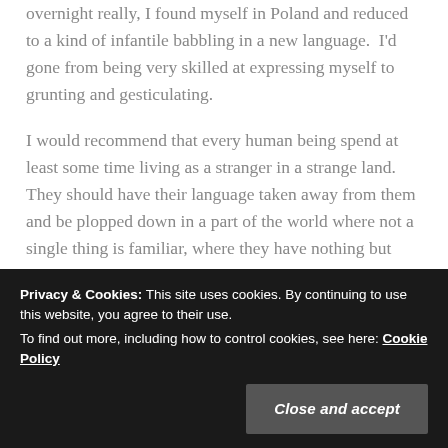overnight really, I found myself in Poland and reduced to a kind of infantile babbling in a new language.  I'd gone from being very skilled at expressing myself to grunting and gesticulating.
I would recommend that every human being spend at least some time living as a stranger in a strange land.  They should have their language taken away from them and be plopped down in a part of the world where not a single thing is familiar, where they have nothing but their own resourcefulness to get them through.  It's in such situations that a person
Privacy & Cookies: This site uses cookies. By continuing to use this website, you agree to their use.
To find out more, including how to control cookies, see here: Cookie Policy
Close and accept